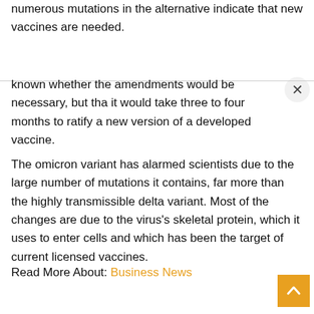numerous mutations in the alternative indicate that new vaccines are needed.
known whether the amendments would be necessary, but that it would take three to four months to ratify a new version of a developed vaccine.
The omicron variant has alarmed scientists due to the large number of mutations it contains, far more than the highly transmissible delta variant. Most of the changes are due to the virus's skeletal protein, which it uses to enter cells and which has been the target of current licensed vaccines.
Read More About: Business News